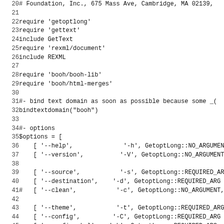[Figure (screenshot): Source code listing (Ruby) showing lines 20-51 with line numbers on the left, monospace font on white background. Code includes require statements, include statements, bindtextdomain call, and $options array definition with command-line argument specifications.]